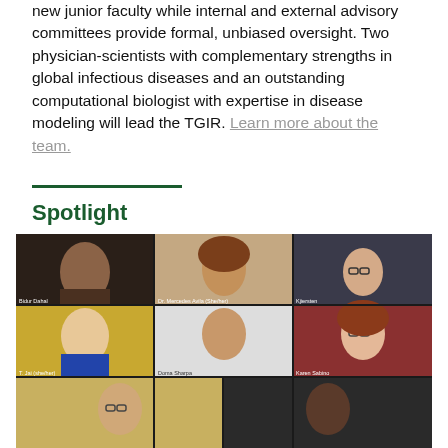new junior faculty while internal and external advisory committees provide formal, unbiased oversight. Two physician-scientists with complementary strengths in global infectious diseases and an outstanding computational biologist with expertise in disease modeling will lead the TGIR. Learn more about the team.
Spotlight
[Figure (photo): Video conference screenshot showing a 3x3 grid of participants including Bidur Dahal, Dr. Mercedes Avila (She/Her), Kjiersten, T. Jai (she/her), Doma Sherpa, Karen Sabino, and two more participants in the bottom row.]